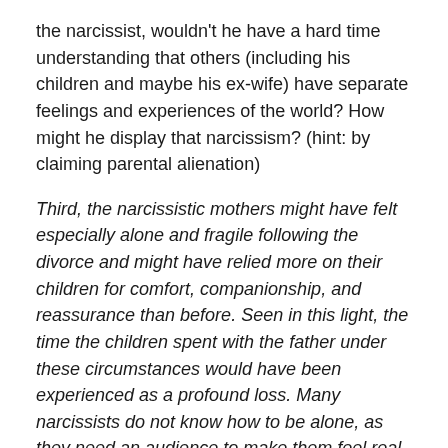the narcissist, wouldn't he have a hard time understanding that others (including his children and maybe his ex-wife) have separate feelings and experiences of the world? How might he display that narcissism? (hint: by claiming parental alienation)
Third, the narcissistic mothers might have felt especially alone and fragile following the divorce and might have relied more on their children for comfort, companionship, and reassurance than before. Seen in this light, the time the children spent with the father under these circumstances would have been experienced as a profound loss. Many narcissists do not know how to be alone, as they need an audience to make them feel real and to reassure them of their grandiosity (Golumb,1992).
Speculation with misogynistic undertones. This particularly